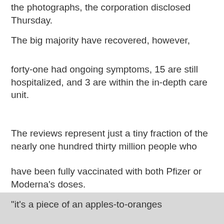the photographs, the corporation disclosed Thursday.
The big majority have recovered, however,
forty-one had ongoing symptoms, 15 are still hospitalized, and 3 are within the in-depth care unit.
The reviews represent just a tiny fraction of the nearly one hundred thirty million people who
have been fully vaccinated with both Pfizer or Moderna’s doses.
“it’s a piece of an apples-to-oranges